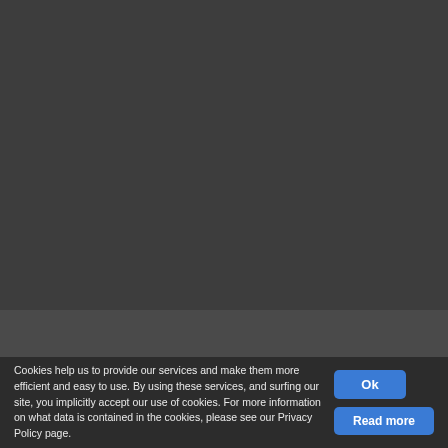[Figure (other): Dark grey background area representing the main page content area (image/content not visible)]
Idro Meccanica srl – Via S.Allende, 81 – 41122 Modena – Italy – Phone: +39 059 251343 – mail: info@idromeccanica.it – P.Iva 01522350360 | All Rights Reserved
Privacy | Conditions of use | Cookies policy
Cookies help us to provide our services and make them more efficient and easy to use. By using these services, and surfing our site, you implicitly accept our use of cookies. For more information on what data is contained in the cookies, please see our Privacy Policy page.